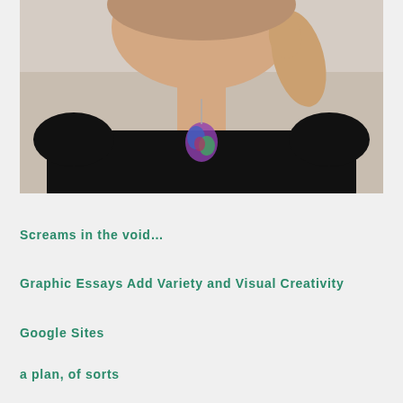[Figure (photo): Close-up photo of a person wearing a black shirt and a colorful pendant necklace, with their hand raised near their face. The background is light/grey.]
Screams in the void…
Graphic Essays Add Variety and Visual Creativity
Google Sites
a plan, of sorts